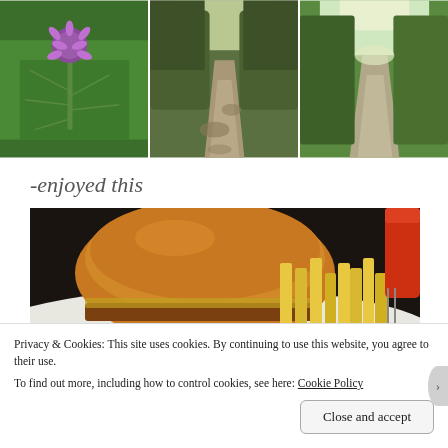[Figure (photo): Three photos side by side: left shows a purple thistle flower with green spiky leaves, center shows a shaded gravel path through trees, right shows a sunlit gravel path through green trees]
-enjoyed this
[Figure (photo): Close-up photo of a burger on a white plate with french fries and what appears to be a drink in the background]
Privacy & Cookies: This site uses cookies. By continuing to use this website, you agree to their use.
To find out more, including how to control cookies, see here: Cookie Policy
Close and accept